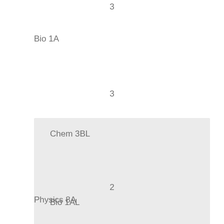3
Bio 1A
3
Chem 3BL
2
Bio 1AL
2
Physics 8A